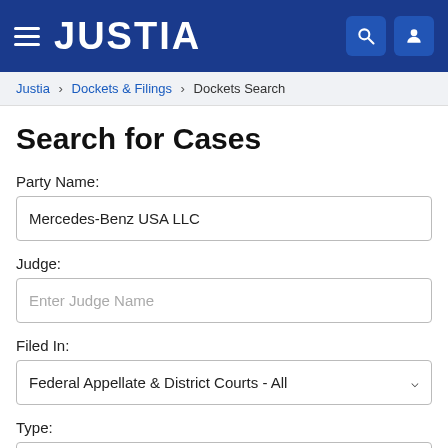JUSTIA
Justia > Dockets & Filings > Dockets Search
Search for Cases
Party Name:
Mercedes-Benz USA LLC
Judge:
Enter Judge Name
Filed In:
Federal Appellate & District Courts - All
Type:
All Lawsuit types